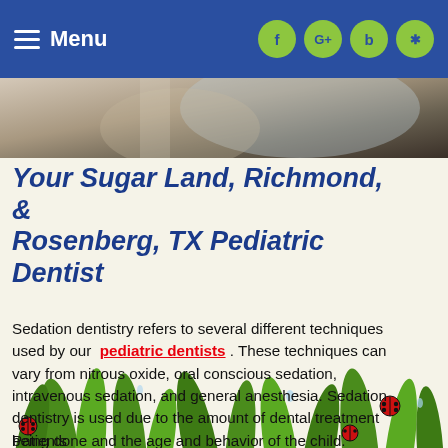Menu | f | G+ | b | yelp
[Figure (photo): Partial photo of a person at a dental or medical setting]
Your Sugar Land, Richmond, & Rosenberg, TX Pediatric Dentist
Sedation dentistry refers to several different techniques used by our pediatric dentists . These techniques can vary from nitrous oxide, oral conscious sedation, intravenous sedation, and general anesthesia. Sedation dentistry is used due to the amount of dental treatment being done and the age and behavior of the child. However, sedation dentistry is only used when the child needs help tolerating the procedures.
Patients...
[Figure (illustration): Decorative grass with ladybugs at the bottom of the page]